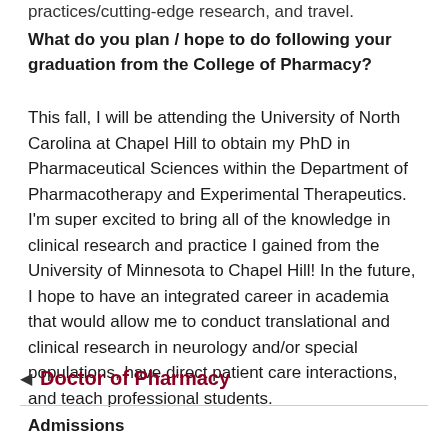practices/cutting-edge research, and travel.
What do you plan / hope to do following your graduation from the College of Pharmacy?
This fall, I will be attending the University of North Carolina at Chapel Hill to obtain my PhD in Pharmaceutical Sciences within the Department of Pharmacotherapy and Experimental Therapeutics. I'm super excited to bring all of the knowledge in clinical research and practice I gained from the University of Minnesota to Chapel Hill! In the future, I hope to have an integrated career in academia that would allow me to conduct translational and clinical research in neurology and/or special populations, have direct patient care interactions, and teach professional students.
Doctor of Pharmacy
Admissions